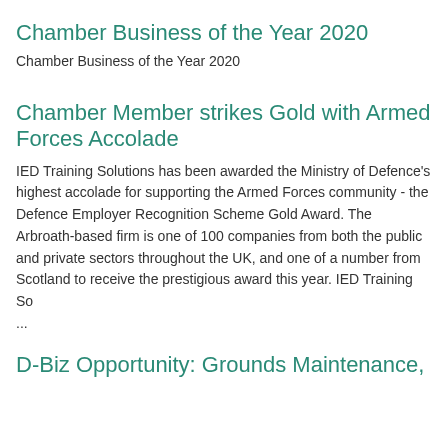Chamber Business of the Year 2020
Chamber Business of the Year 2020
Chamber Member strikes Gold with Armed Forces Accolade
IED Training Solutions has been awarded the Ministry of Defence's highest accolade for supporting the Armed Forces community - the Defence Employer Recognition Scheme Gold Award. The Arbroath-based firm is one of 100 companies from both the public and private sectors throughout the UK, and one of a number from Scotland to receive the prestigious award this year. IED Training So ...
D-Biz Opportunity: Grounds Maintenance,